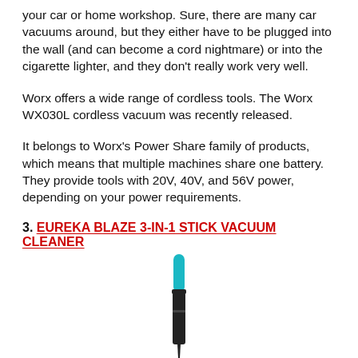your car or home workshop.  Sure, there are many car vacuums around, but they either have to be plugged into the wall (and can become a cord nightmare) or into the cigarette lighter, and they don't really work very well.
Worx offers a wide range of cordless tools.  The Worx WX030L cordless vacuum was recently released.
It belongs to Worx's Power Share family of products, which means that multiple machines share one battery.  They provide tools with 20V, 40V, and 56V power, depending on your power requirements.
3. EUREKA BLAZE 3-IN-1 STICK VACUUM CLEANER
[Figure (photo): Photo of a Eureka Blaze 3-in-1 stick vacuum cleaner, showing a teal/turquoise and black slim stick vacuum upright view.]